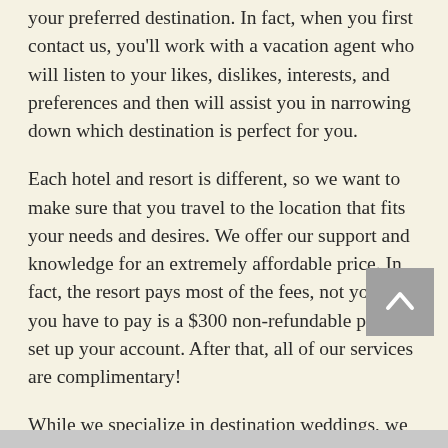your preferred destination. In fact, when you first contact us, you'll work with a vacation agent who will listen to your likes, dislikes, interests, and preferences and then will assist you in narrowing down which destination is perfect for you.
Each hotel and resort is different, so we want to make sure that you travel to the location that fits your needs and desires. We offer our support and knowledge for an extremely affordable price. In fact, the resort pays most of the fees, not you; all you have to pay is a $300 non-refundable price to set up your account. After that, all of our services are complimentary!
While we specialize in destination weddings, we are true travel agents, so we can help plan and set up any vacation that you have in mind — from a family trip to Disney World to... ...getaway to the